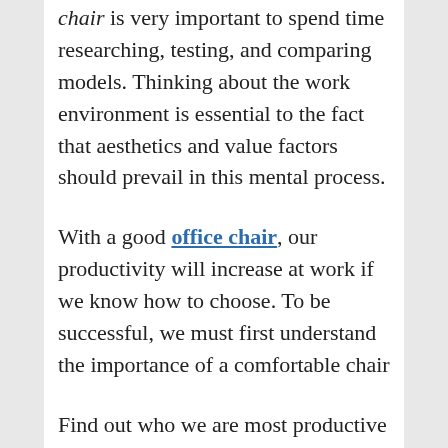chair is very important to spend time researching, testing, and comparing models. Thinking about the work environment is essential to the fact that aesthetics and value factors should prevail in this mental process.
With a good office chair, our productivity will increase at work if we know how to choose. To be successful, we must first understand the importance of a comfortable chair
Find out who we are most productive (some are ready to work, others are on the table, others are very straight …)